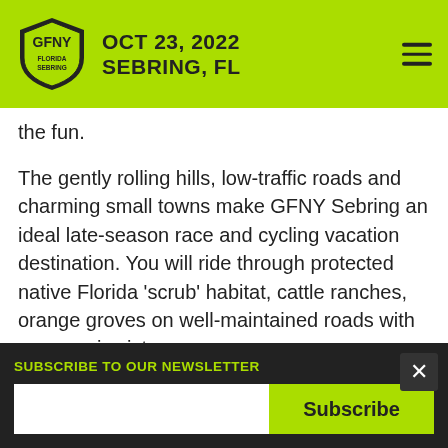OCT 23, 2022 SEBRING, FL
the fun.
The gently rolling hills, low-traffic roads and charming small towns make GFNY Sebring an ideal late-season race and cycling vacation destination. You will ride through protected native Florida 'scrub' habitat, cattle ranches, orange groves on well-maintained roads with panoramic vistas.
Sebring will delight you with its many
SUBSCRIBE TO OUR NEWSLETTER
Subscribe